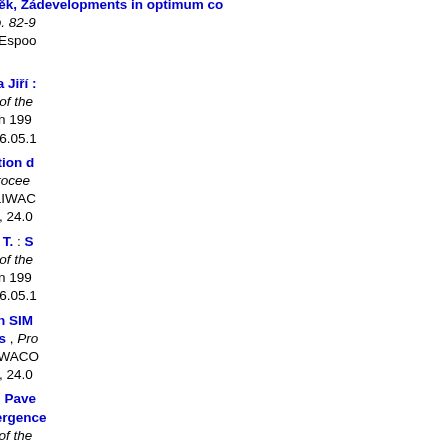348. Jeníček T., Vostrý Zdeněk, Zá... developments in optimum co... SIMONE Congress '95, p. 82-9... SIMONE Congress '95, (Espoo... [1995]
349. Vostrý Zdeněk, Záworka Jiří :... transport , Proceedings of the... 64-75, LIWACOM, (Essen 1995... (Espoo, FI, 24.05.1995-26.05.1...
350. Vostrý Zdeněk : Estimation d... for billing purposes , Procee... Congress '95, p. 34-43, LIWAC... Congress '95, (Espoo, FI, 24.0...
351. Vostrý Zdeněk, Jeníček T. : S... networks , Proceedings of the... 18-33, LIWACOM, (Essen 1995... (Espoo, FI, 24.05.1995-26.05.1...
352. Záworka Jiří : Survey on SIM... and development trends , Pro... Congress '95, p. 1-12, LIWACO... Congress '95, (Espoo, FI, 24.0...
353. Novovičová Jana, Pudil Pave... selection based on divergence... densities , Proceedings of the... on Image Analysis, p. 989-996... (Uppsala 1995) , Scandinavian... Analysis /9./, (Uppsala, SE, 06...
354. Kovanis Pavel : Gnostická to...